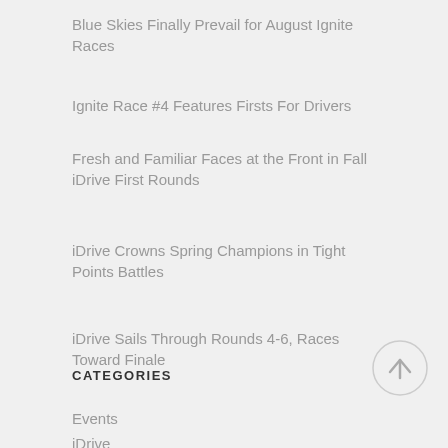Blue Skies Finally Prevail for August Ignite Races
Ignite Race #4 Features Firsts For Drivers
Fresh and Familiar Faces at the Front in Fall iDrive First Rounds
iDrive Crowns Spring Champions in Tight Points Battles
iDrive Sails Through Rounds 4-6, Races Toward Finale
CATEGORIES
Events
iDrive